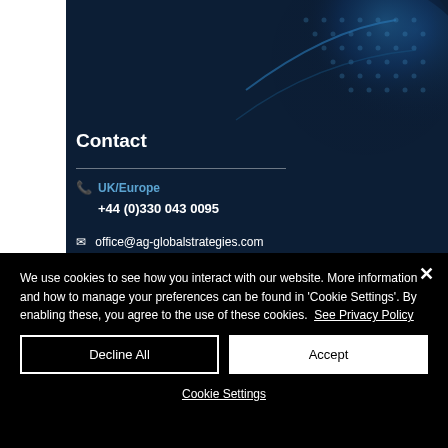[Figure (illustration): Dark navy blue background with abstract globe/network graphic in upper right, forming the background of the contact section]
Contact
UK/Europe
+44 (0)330 043 0095
office@ag-globalstrategies.com
We use cookies to see how you interact with our website. More information and how to manage your preferences can be found in 'Cookie Settings'. By enabling these, you agree to the use of these cookies.  See Privacy Policy
Decline All
Accept
Cookie Settings